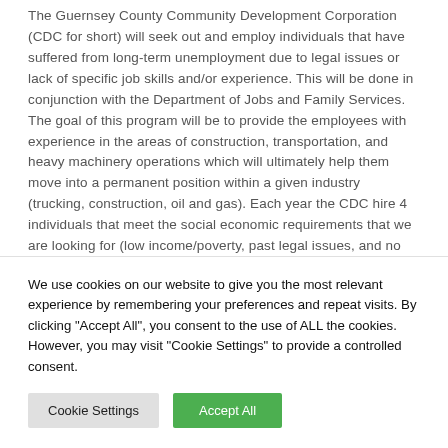The Guernsey County Community Development Corporation (CDC for short) will seek out and employ individuals that have suffered from long-term unemployment due to legal issues or lack of specific job skills and/or experience. This will be done in conjunction with the Department of Jobs and Family Services. The goal of this program will be to provide the employees with experience in the areas of construction, transportation, and heavy machinery operations which will ultimately help them move into a permanent position within a given industry (trucking, construction, oil and gas). Each year the CDC hire 4 individuals that meet the social economic requirements that we are looking for (low income/poverty, past legal issues, and no job skills) and then provide them with long-term employment/tenure. Employees will also receive training on the...
We use cookies on our website to give you the most relevant experience by remembering your preferences and repeat visits. By clicking "Accept All", you consent to the use of ALL the cookies. However, you may visit "Cookie Settings" to provide a controlled consent.